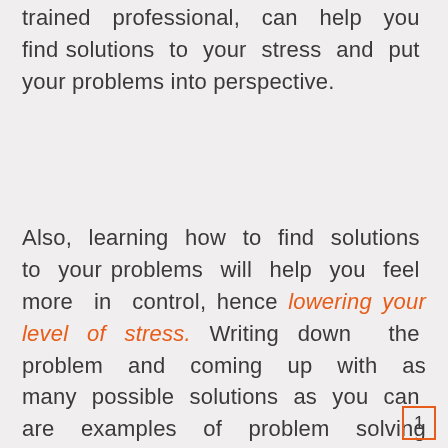trained professional, can help you find solutions to your stress and put your problems into perspective.
Also, learning how to find solutions to your problems will help you feel more in control, hence lowering your level of stress. Writing down the problem and coming up with as many possible solutions as you can are examples of problem solving techniques. You can decide on the good and bad points of each one, then select the best solution.
1